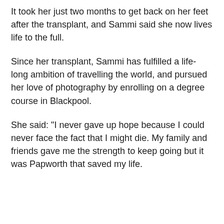It took her just two months to get back on her feet after the transplant, and Sammi said she now lives life to the full.
Since her transplant, Sammi has fulfilled a life-long ambition of travelling the world, and pursued her love of photography by enrolling on a degree course in Blackpool.
She said: "I never gave up hope because I could never face the fact that I might die. My family and friends gave me the strength to keep going but it was Papworth that saved my life.